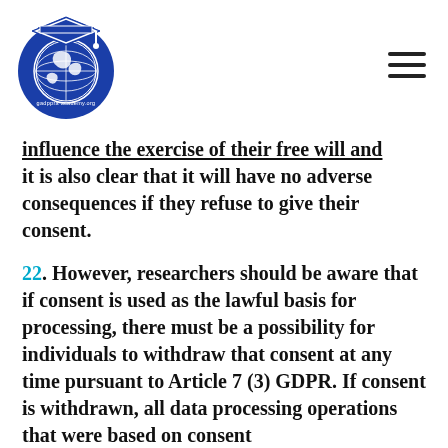[Figure (logo): GDPR Academy logo: blue circular globe with graduation cap, text 'gadpra academy.org']
influence the exercise of their free will and it is also clear that it will have no adverse consequences if they refuse to give their consent.
22. However, researchers should be aware that if consent is used as the lawful basis for processing, there must be a possibility for individuals to withdraw that consent at any time pursuant to Article 7 (3) GDPR. If consent is withdrawn, all data processing operations that were based on consent